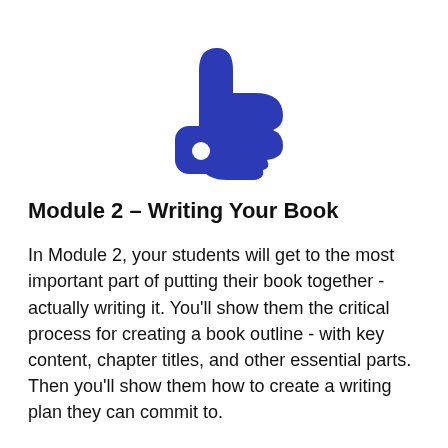[Figure (illustration): A dark blue thumbs-up icon pointing to the right, centered at the top of the page.]
Module 2 – Writing Your Book
In Module 2, your students will get to the most important part of putting their book together - actually writing it. You'll show them the critical process for creating a book outline - with key content, chapter titles, and other essential parts. Then you'll show them how to create a writing plan they can commit to.